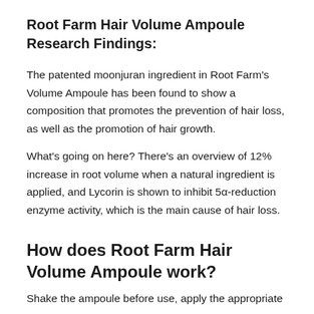Root Farm Hair Volume Ampoule Research Findings:
The patented moonjuran ingredient in Root Farm's Volume Ampoule has been found to show a composition that promotes the prevention of hair loss, as well as the promotion of hair growth.
What's going on here? There's an overview of 12% increase in root volume when a natural ingredient is applied, and Lycorin is shown to inhibit 5α-reduction enzyme activity, which is the main cause of hair loss.
How does Root Farm Hair Volume Ampoule work?
Shake the ampoule before use, apply the appropriate